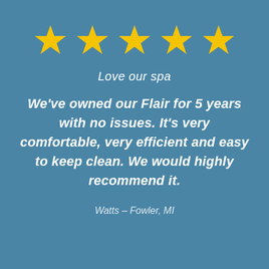[Figure (illustration): Five yellow five-pointed stars in a horizontal row on a teal/steel-blue background, representing a 5-star rating.]
Love our spa
We've owned our Flair for 5 years with no issues. It's very comfortable, very efficient and easy to keep clean. We would highly recommend it.
Watts – Fowler, MI